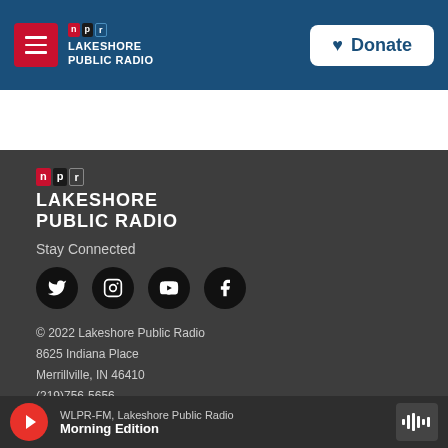Lakeshore Public Radio - NPR header with Donate button
[Figure (logo): Lakeshore Public Radio NPR logo in footer dark section]
Stay Connected
[Figure (infographic): Social media icons: Twitter, Instagram, YouTube, Facebook]
© 2022 Lakeshore Public Radio
8625 Indiana Place
Merrillville, IN 46410
(219)756-5656
WLPR-FM, Lakeshore Public Radio — Morning Edition